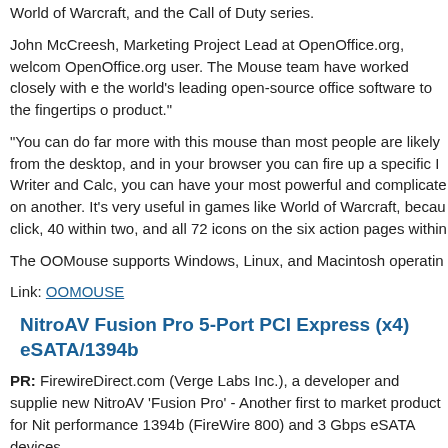World of Warcraft, and the Call of Duty series.
John McCreesh, Marketing Project Lead at OpenOffice.org, welcom OpenOffice.org user. The Mouse team have worked closely with e the world's leading open-source office software to the fingertips o product."
"You can do far more with this mouse than most people are likely from the desktop, and in your browser you can fire up a specific I Writer and Calc, you can have your most powerful and complicate on another. It's very useful in games like World of Warcraft, becau click, 40 within two, and all 72 icons on the six action pages within
The OOMouse supports Windows, Linux, and Macintosh operatin
Link: OOMOUSE
NitroAV Fusion Pro 5-Port PCI Express (x4) eSATA/1394b
PR: FirewireDirect.com (Verge Labs Inc.), a developer and supplie new NitroAV 'Fusion Pro' - Another first to market product for Nit performance 1394b (FireWire 800) and 3 Gbps eSATA devices.
This NitroAV host bus adapter is a professional grade eSATA/1394